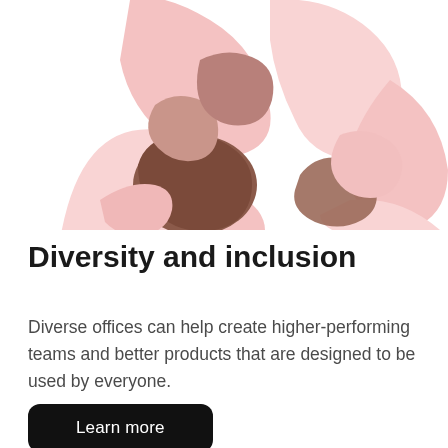[Figure (illustration): Illustration of multiple hands of different skin tones clasped together in a circle, viewed from above, representing diversity and inclusion. Skin tones range from light pink to dark brown.]
Diversity and inclusion
Diverse offices can help create higher-performing teams and better products that are designed to be used by everyone.
Learn more